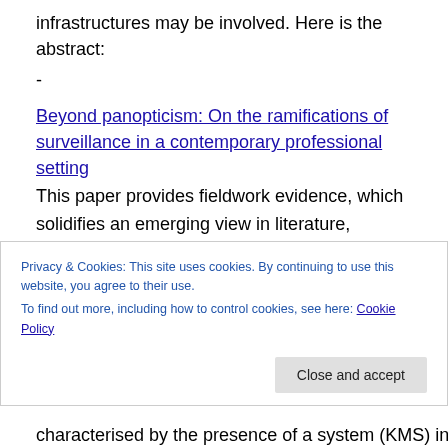infrastructures may be involved. Here is the abstract:
-
Beyond panopticism: On the ramifications of surveillance in a contemporary professional setting
This paper provides fieldwork evidence, which solidifies an emerging view in literature, regarding the limitations of the panoptical metaphor in informing meaningfully and productively the analysis of contemporary surveillance and control. Our thesis is that the panopticon metaphor, which conceives of the organization as a bounded enclosure
Privacy & Cookies: This site uses cookies. By continuing to use this website, you agree to their use.
To find out more, including how to control cookies, see here: Cookie Policy
Close and accept
characterised by the presence of a system (KMS) in